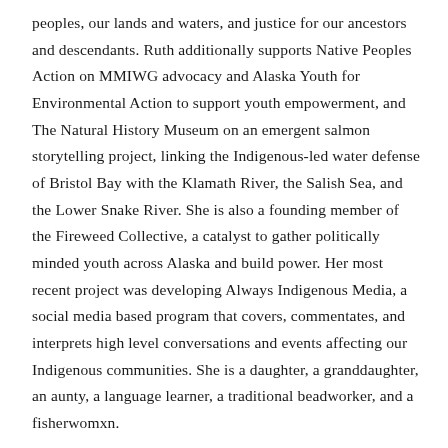peoples, our lands and waters, and justice for our ancestors and descendants. Ruth additionally supports Native Peoples Action on MMIWG advocacy and Alaska Youth for Environmental Action to support youth empowerment, and The Natural History Museum on an emergent salmon storytelling project, linking the Indigenous-led water defense of Bristol Bay with the Klamath River, the Salish Sea, and the Lower Snake River. She is also a founding member of the Fireweed Collective, a catalyst to gather politically minded youth across Alaska and build power. Her most recent project was developing Always Indigenous Media, a social media based program that covers, commentates, and interprets high level conversations and events affecting our Indigenous communities. She is a daughter, a granddaughter, an aunty, a language learner, a traditional beadworker, and a fisherwomxn.